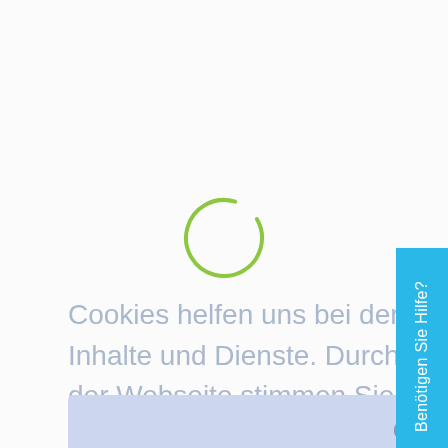[Figure (other): Loading spinner — green partial circle arc indicating a loading state]
Cookies helfen uns bei der Bereitstellung unserer Inhalte und Dienste. Durch die weitere Nutzung der Webseite stimmen Sie der Verwendung von Cookies zu.
Okay!
Benötigen Sie Hilfe?